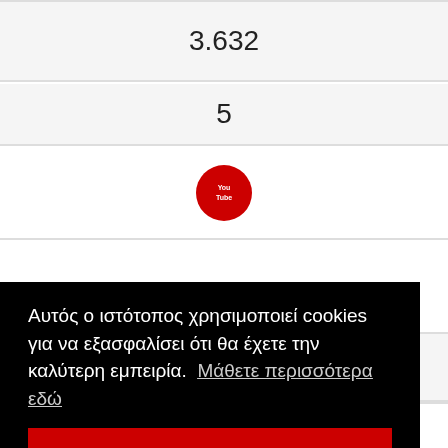| 3.632 |
| 5 |
| [YouTube icon] |
[Figure (other): Red downward arrow icon in a table row]
Αυτός ο ιστότοπος χρησιμοποιεί cookies για να εξασφαλίσει ότι θα έχετε την καλύτερη εμπειρία. Μάθετε περισσότερα εδώ
ΔΕΧΟΜΑΙ